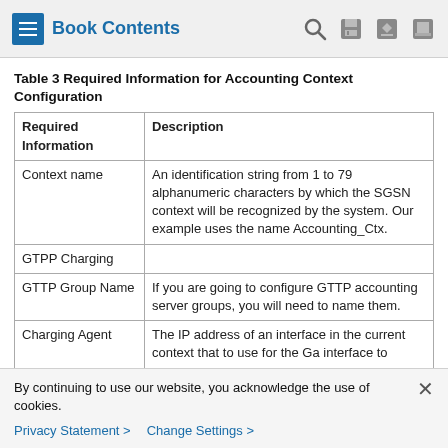Book Contents
Table 3 Required Information for Accounting Context Configuration
| Required Information | Description |
| --- | --- |
| Context name | An identification string from 1 to 79 alphanumeric characters by which the SGSN context will be recognized by the system. Our example uses the name Accounting_Ctx. |
| GTPP Charging |  |
| GTTP Group Name | If you are going to configure GTTP accounting server groups, you will need to name them. |
| Charging Agent | The IP address of an interface in the current context that to use for the Ga interface to |
By continuing to use our website, you acknowledge the use of cookies.
Privacy Statement > Change Settings >